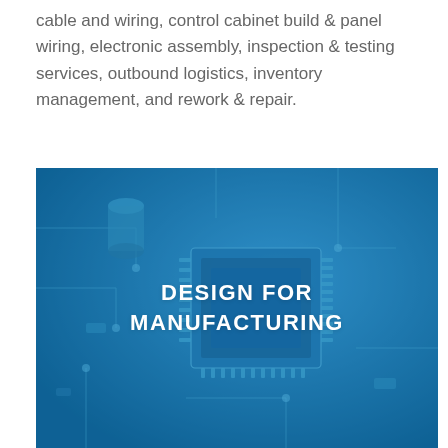cable and wiring, control cabinet build & panel wiring, electronic assembly, inspection & testing services, outbound logistics, inventory management, and rework & repair.
[Figure (photo): Close-up photo of a blue-tinted circuit board with a microchip (IC) and electronic components, overlaid with bold white text reading 'DESIGN FOR MANUFACTURING']